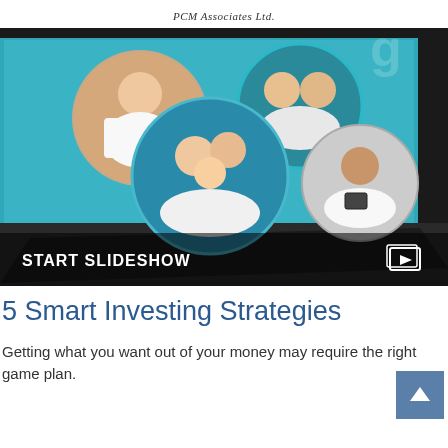PCM Associates Ltd.
[Figure (screenshot): A tablet or screen showing circular portrait photos of people (a woman, an elderly couple, a family group, and a man) on a teal/blue background, with a 'START SLIDESHOW' overlay at the bottom and a slideshow play icon in the bottom right corner.]
5 Smart Investing Strategies
Getting what you want out of your money may require the right game plan.